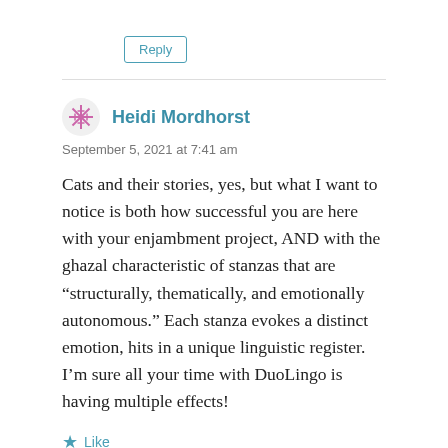Reply
Heidi Mordhorst
September 5, 2021 at 7:41 am
Cats and their stories, yes, but what I want to notice is both how successful you are here with your enjambment project, AND with the ghazal characteristic of stanzas that are “structurally, thematically, and emotionally autonomous.” Each stanza evokes a distinct emotion, hits in a unique linguistic register. I’m sure all your time with DuoLingo is having multiple effects!
Like